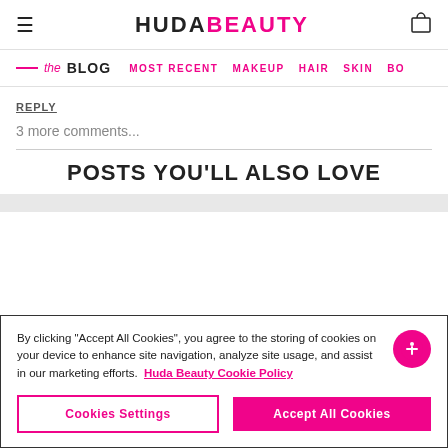HUDABEAUTY
the BLOG | MOST RECENT | MAKEUP | HAIR | SKIN | BO
REPLY
3 more comments...
POSTS YOU'LL ALSO LOVE
By clicking “Accept All Cookies”, you agree to the storing of cookies on your device to enhance site navigation, analyze site usage, and assist in our marketing efforts. Huda Beauty Cookie Policy
Cookies Settings | Accept All Cookies